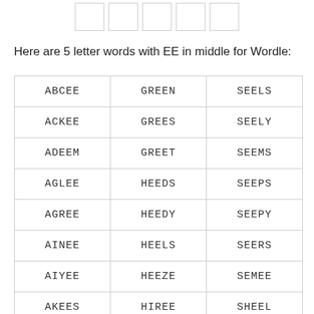[Figure (other): Five empty Wordle letter boxes arranged in a row at the top of the page]
Here are 5 letter words with EE in middle for Wordle:
| ABCEE | GREEN | SEELS |
| ACKEE | GREES | SEELY |
| ADEEM | GREET | SEEMS |
| AGLEE | HEEDS | SEEPS |
| AGREE | HEEDY | SEEPY |
| AINEE | HEELS | SEERS |
| AIYEE | HEEZE | SEMEE |
| AKEES | HIREE | SHEEL |
| ALDEE | IREES | SHEEN |